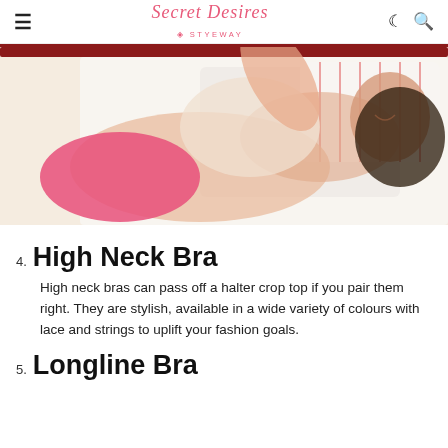Secret Desires by Styeway
[Figure (photo): Woman lying on a bed wearing a beige bra and pink shorts, smiling, with a red headboard and striped pillow in the background.]
4. High Neck Bra
High neck bras can pass off a halter crop top if you pair them right. They are stylish, available in a wide variety of colours with lace and strings to uplift your fashion goals.
5. Longline Bra